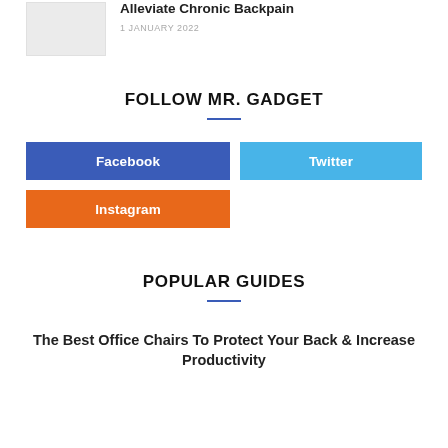[Figure (photo): Thumbnail placeholder image (light grey rectangle)]
Alleviate Chronic Backpain
1 JANUARY 2022
FOLLOW MR. GADGET
Facebook
Twitter
Instagram
POPULAR GUIDES
The Best Office Chairs To Protect Your Back & Increase Productivity